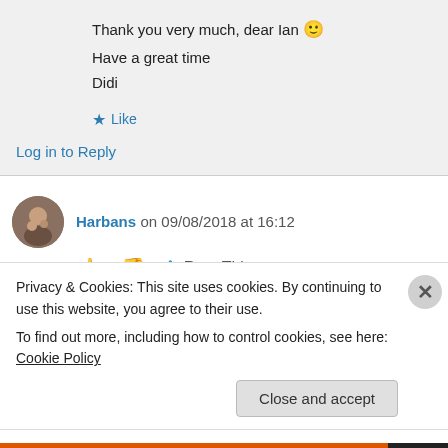Thank you very much, dear Ian 🙂
Have a great time
Didi
★ Like
Log in to Reply
Harbans on 09/08/2018 at 16:12
👍 0 👎 0 ℹ Rate This
It is always an inspiration to visit and go through
Privacy & Cookies: This site uses cookies. By continuing to use this website, you agree to their use.
To find out more, including how to control cookies, see here: Cookie Policy
Close and accept